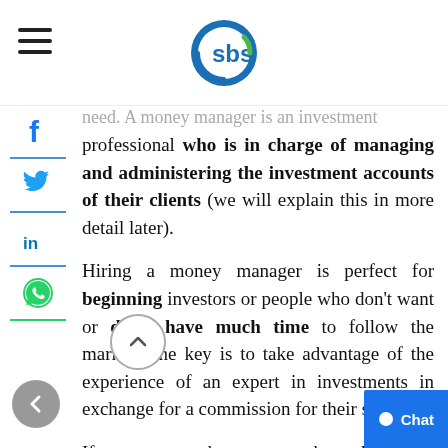SBS logo and hamburger menu
need. A money manager is an investment professional who is in charge of managing and administering the investment accounts of their clients (we will explain this in more detail later).
Hiring a money manager is perfect for beginning investors or people who don't want or don't have much time to follow the market. The key is to take advantage of the experience of an expert in investments in exchange for a commission for their services.
If you want to know more about this topic, this article will introduce you to the basics of what a money manager is, how a money manager operates, how they make money and